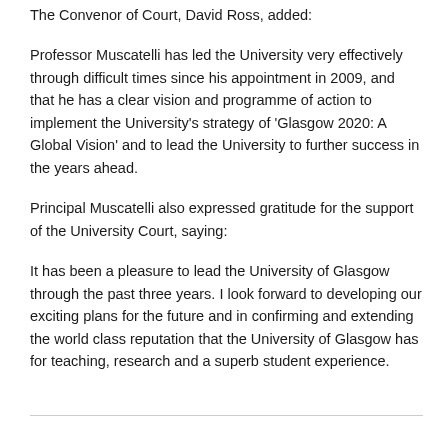The Convenor of Court, David Ross, added:
Professor Muscatelli has led the University very effectively through difficult times since his appointment in 2009, and that he has a clear vision and programme of action to implement the University's strategy of 'Glasgow 2020: A Global Vision' and to lead the University to further success in the years ahead.
Principal Muscatelli also expressed gratitude for the support of the University Court, saying:
It has been a pleasure to lead the University of Glasgow through the past three years. I look forward to developing our exciting plans for the future and in confirming and extending the world class reputation that the University of Glasgow has for teaching, research and a superb student experience.